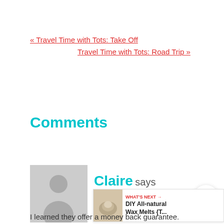« Travel Time with Tots: Take Off
Travel Time with Tots: Road Trip »
Comments
[Figure (illustration): Gray avatar placeholder image showing a generic person silhouette (head and shoulders) on a light gray background]
Claire says
[Figure (other): Share button - white circular button with red share/network icon]
[Figure (other): What's Next widget showing thumbnail image and text: WHAT'S NEXT → DIY All-natural Wax Melts {T...]
I learned they offer a money back guarantee.